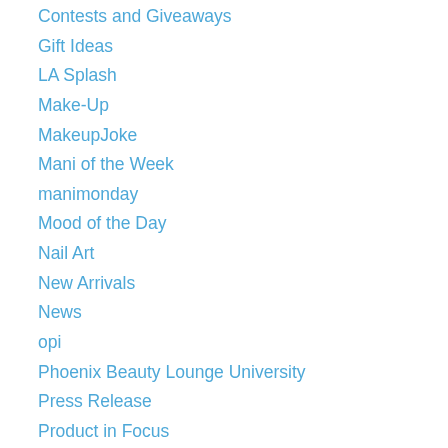Contests and Giveaways
Gift Ideas
LA Splash
Make-Up
MakeupJoke
Mani of the Week
manimonday
Mood of the Day
Nail Art
New Arrivals
News
opi
Phoenix Beauty Lounge University
Press Release
Product in Focus
Product Review
Promotions
Show Me Your Mani
Swatches
Tutorials